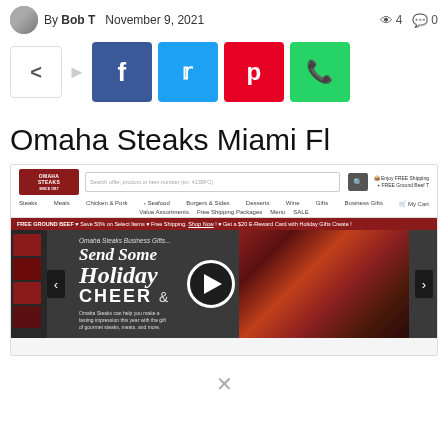By Bob T  November 9, 2021  👁 4  💬 0
[Figure (screenshot): Social sharing buttons row: share icon, Facebook (blue), Twitter (cyan), Pinterest (red), WhatsApp (green)]
Omaha Steaks Miami Fl
[Figure (screenshot): Screenshot of the Omaha Steaks website homepage showing the navigation bar with logo, search bar, navigation links (Steaks, Meals, Chicken & Pork, Seafood, Burgers & Sides, Desserts, Wine, Gifts, Business Gifts, My Cart), sub-navigation (Value Assortments, Free Shipping Packages, Menu, SALE), a dark red promotional banner reading FREE GROUND BEEF + Save 50% on Select Items + Free Shipping. Shop Now! + Get a $20 E-Reward Card with Holiday Gifts Create!, and a hero section with Holiday Cheer business gifts promotion, a video play button, and steak imagery.]